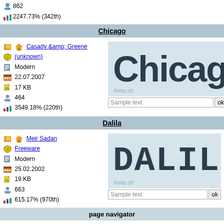862
2247.73% (342th)
Chicago
Casady &amp; Greene
(unknown)
Modern
22.07.2007
17 KB
464
3549.18% (220th)
[Figure (screenshot): Chicago font preview showing large bold text on light blue background with fontz.ch watermark, and a sample text input field]
Dalila
Meir Sadan
Freeware
Modern
25.02.2002
19 KB
663
615.17% (970th)
[Figure (screenshot): Dalila font preview showing large bold monospace text on light blue background with fontz.ch watermark, and a sample text input field]
page navigator
Modern | 1 2 3 4 5 6 7 8
©2000-2022 fontz.ch - a non-profit proj